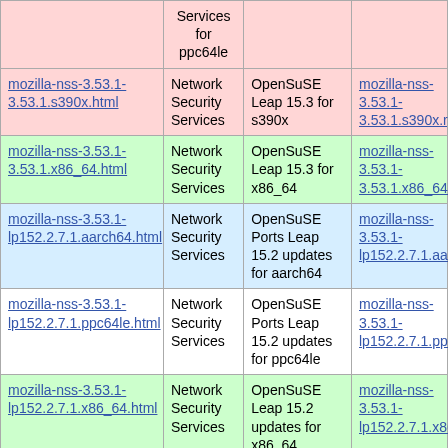|  | Services for ppc64le |  |  |
| --- | --- | --- | --- |
| mozilla-nss-3.53.1-3.53.1.s390x.html | Network Security Services | OpenSuSE Leap 15.3 for s390x | mozilla-nss-3.53.1-3.53.1.s390x.rpm |
| mozilla-nss-3.53.1-3.53.1.x86_64.html | Network Security Services | OpenSuSE Leap 15.3 for x86_64 | mozilla-nss-3.53.1-3.53.1.x86_64.rpm |
| mozilla-nss-3.53.1-lp152.2.7.1.aarch64.html | Network Security Services | OpenSuSE Ports Leap 15.2 updates for aarch64 | mozilla-nss-3.53.1-lp152.2.7.1.aarch64 |
| mozilla-nss-3.53.1-lp152.2.7.1.ppc64le.html | Network Security Services | OpenSuSE Ports Leap 15.2 updates for ppc64le | mozilla-nss-3.53.1-lp152.2.7.1.ppc64le |
| mozilla-nss-3.53.1-lp152.2.7.1.x86_64.html | Network Security Services | OpenSuSE Leap 15.2 updates for x86_64 | mozilla-nss-3.53.1-lp152.2.7.1.x86_64 |
| mozilla-nss-3.53.1-lp152.2.4.1.aarch64.html | Network Security Services | OpenSuSE Ports Leap 15.2 updates for aarch64 | mozilla-nss-3.53.1-lp152.2.4.1.aarch64 |
|  | Network | OpenSuSE |  |